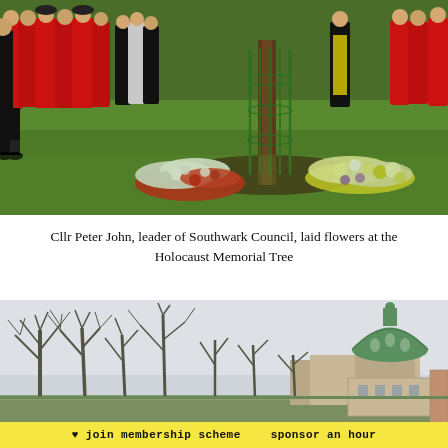[Figure (photo): Outdoor ceremony with people in red ceremonial robes and black coats standing on a green lawn around a young tree protected by a wire cage, with floral wreaths of red, white and yellow flowers laid at its base.]
Cllr Peter John, leader of Southwark Council, laid flowers at the Holocaust Memorial Tree
[Figure (photo): Outdoor scene showing bare winter trees against a pale grey sky with a large green-domed building (Imperial War Museum) visible on the right side.]
♥ join membership scheme   sponsor an hour